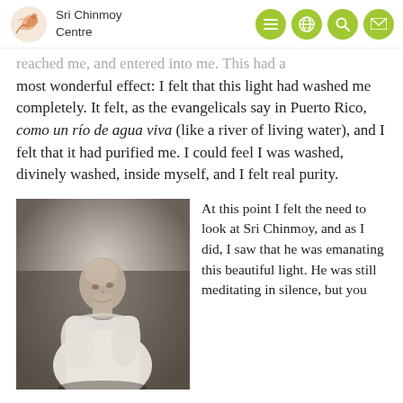Sri Chinmoy Centre
reached me, and entered into me. This had a most wonderful effect: I felt that this light had washed me completely. It felt, as the evangelicals say in Puerto Rico, como un río de agua viva (like a river of living water), and I felt that it had purified me. I could feel I was washed, divinely washed, inside myself, and I felt real purity.
[Figure (photo): Black and white photograph of Sri Chinmoy in a meditative pose, wearing white robes, looking upward]
At this point I felt the need to look at Sri Chinmoy, and as I did, I saw that he was emanating this beautiful light. He was still meditating in silence, but you...